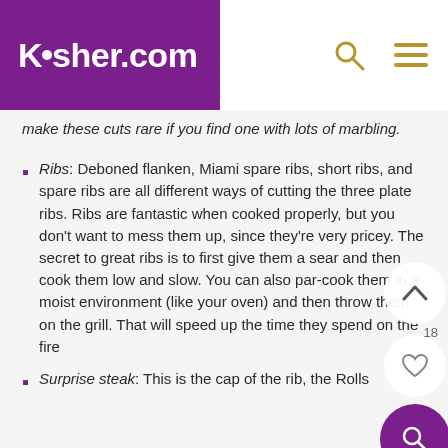Kosher.com
make these cuts rare if you find one with lots of marbling.
Ribs: Deboned flanken, Miami spare ribs, short ribs, and spare ribs are all different ways of cutting the three plate ribs. Ribs are fantastic when cooked properly, but you don't want to mess them up, since they're very pricey. The secret to great ribs is to first give them a sear and then cook them low and slow. You can also par-cook them in a moist environment (like your oven) and then throw them on the grill. That will speed up the time they spend on the fire
Surprise steak: This is the cap of the rib, the Rolls